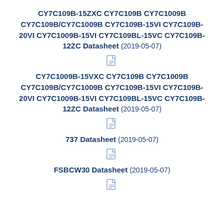CY7C109B-15ZXC CY7C109B CY7C1009B CY7C109B/CY7C1009B CY7C109B-15VI CY7C109B-20VI CY7C1009B-15VI CY7C109BL-15VC CY7C109B-12ZC Datasheet (2019-05-07)
[Figure (other): PDF file icon]
CY7C1009B-15VXC CY7C109B CY7C1009B CY7C109B/CY7C1009B CY7C109B-15VI CY7C109B-20VI CY7C1009B-15VI CY7C109BL-15VC CY7C109B-12ZC Datasheet (2019-05-07)
[Figure (other): PDF file icon]
737 Datasheet (2019-05-07)
[Figure (other): PDF file icon]
FSBCW30 Datasheet (2019-05-07)
[Figure (other): PDF file icon]